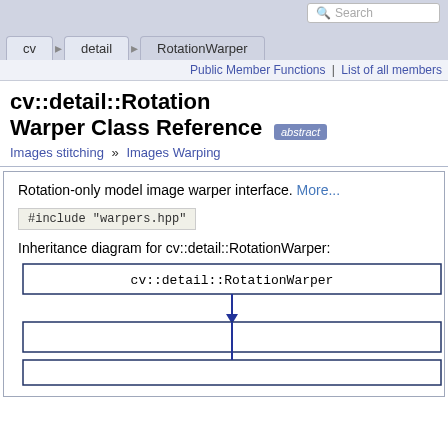Search
cv | detail | RotationWarper
Public Member Functions | List of all members
cv::detail::RotationWarper Class Reference [abstract]
Images stitching » Images Warping
Rotation-only model image warper interface. More...
Inheritance diagram for cv::detail::RotationWarper:
[Figure (engineering-diagram): Inheritance diagram showing cv::detail::RotationWarper class with an arrow pointing down to derived classes represented as empty boxes]